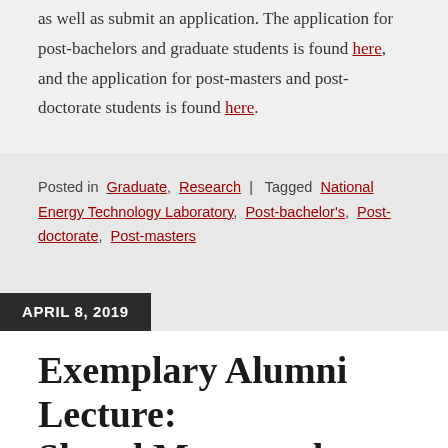as well as submit an application. The application for post-bachelors and graduate students is found here, and the application for post-masters and post-doctorate students is found here.
Posted in Graduate, Research | Tagged National Energy Technology Laboratory, Post-bachelor's, Post-doctorate, Post-masters
APRIL 8, 2019
Exemplary Alumni Lecture: Sheryl Massaronho